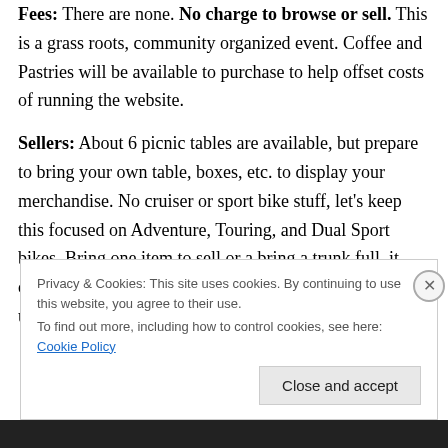Fees: There are none. No charge to browse or sell. This is a grass roots, community organized event. Coffee and Pastries will be available to purchase to help offset costs of running the website.
Sellers: About 6 picnic tables are available, but prepare to bring your own table, boxes, etc. to display your merchandise. No cruiser or sport bike stuff, let's keep this focused on Adventure, Touring, and Dual Sport bikes. Bring one item to sell or a bring a trunk full, it doesn't matter. A shelter is available to put your tables under, but space is limited.
Privacy & Cookies: This site uses cookies. By continuing to use this website, you agree to their use. To find out more, including how to control cookies, see here: Cookie Policy